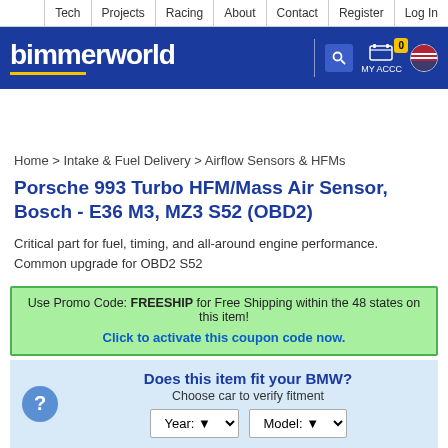Tech | Projects | Racing | About | Contact | Register | Log In
[Figure (logo): BimmerWorld logo in white text on dark blue background with yellow underline, search icon, cart with badge showing 0, MY ACCOUNT link, US flag icon]
Home > Intake & Fuel Delivery > Airflow Sensors & HFMs
Porsche 993 Turbo HFM/Mass Air Sensor, Bosch - E36 M3, MZ3 S52 (OBD2)
Critical part for fuel, timing, and all-around engine performance. Common upgrade for OBD2 S52
Use Promo Code: FREESHIP for Free Shipping within the 48 states on this item!
Click to activate this coupon code now.
Does this item fit your BMW?
Choose car to verify fitment
Year: ▼   Model: ▼